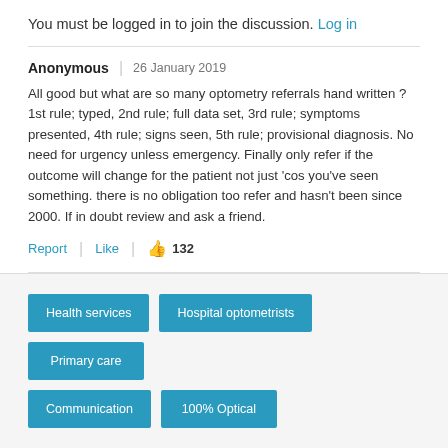You must be logged in to join the discussion. Log in
Anonymous | 26 January 2019
All good but what are so many optometry referrals hand written ? 1st rule; typed, 2nd rule; full data set, 3rd rule; symptoms presented, 4th rule; signs seen, 5th rule; provisional diagnosis. No need for urgency unless emergency. Finally only refer if the outcome will change for the patient not just 'cos you've seen something. there is no obligation too refer and hasn't been since 2000. If in doubt review and ask a friend.
Report | Like | 132
Health services
Hospital optometrists
Primary care
Communication
100% Optical